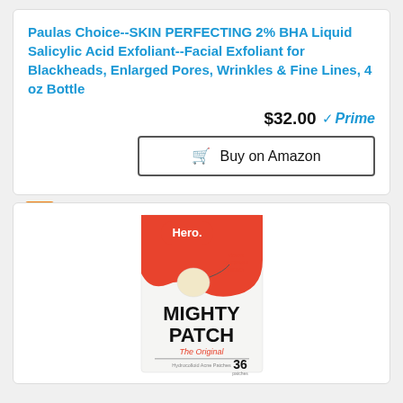Paulas Choice--SKIN PERFECTING 2% BHA Liquid Salicylic Acid Exfoliant--Facial Exfoliant for Blackheads, Enlarged Pores, Wrinkles & Fine Lines, 4 oz Bottle
$32.00 Prime
Buy on Amazon
3
[Figure (photo): Mighty Patch The Original product package - red and white box showing acne patches, 36 patches count, by Hero brand]